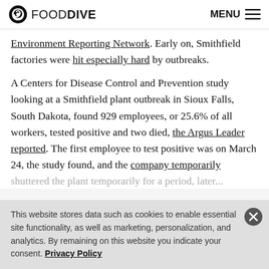FOOD DIVE | MENU
Environment Reporting Network. Early on, Smithfield factories were hit especially hard by outbreaks.
A Centers for Disease Control and Prevention study looking at a Smithfield plant outbreak in Sioux Falls, South Dakota, found 929 employees, or 25.6% of all workers, tested positive and two died, the Argus Leader reported. The first employee to test positive was on March 24, the study found, and the company temporarily [text cut off]
This website stores data such as cookies to enable essential site functionality, as well as marketing, personalization, and analytics. By remaining on this website you indicate your consent. Privacy Policy